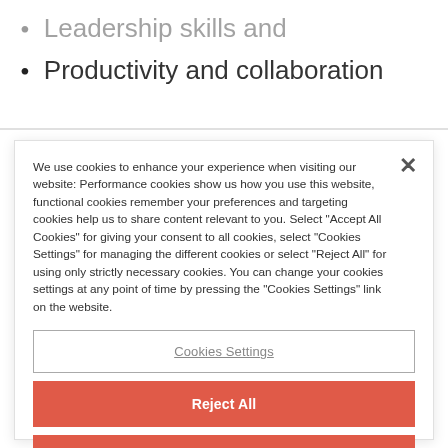Leadership skills and
Productivity and collaboration
We use cookies to enhance your experience when visiting our website: Performance cookies show us how you use this website, functional cookies remember your preferences and targeting cookies help us to share content relevant to you. Select "Accept All Cookies" for giving your consent to all cookies, select "Cookies Settings" for managing the different cookies or select "Reject All" for using only strictly necessary cookies. You can change your cookies settings at any point of time by pressing the "Cookies Settings" link on the website.
Cookies Settings
Reject All
Accept All Cookies